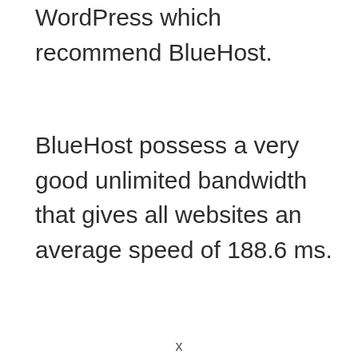WordPress which recommend BlueHost.
BlueHost possess a very good unlimited bandwidth that gives all websites an average speed of 188.6 ms.